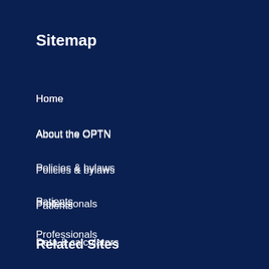Sitemap
Home
About the OPTN
Policies & bylaws
Patients
Professionals
Data & calculators
News & events
Related Sites